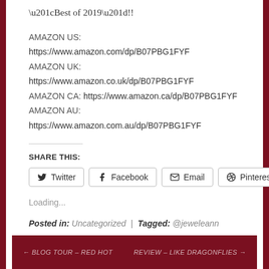“Best of 2019”!!
AMAZON US: https://www.amazon.com/dp/B07PBG1FYF
AMAZON UK: https://www.amazon.co.uk/dp/B07PBG1FYF
AMAZON CA: https://www.amazon.ca/dp/B07PBG1FYF
AMAZON AU: https://www.amazon.com.au/dp/B07PBG1FYF
SHARE THIS:
Twitter  Facebook  Email  Pinterest
Loading...
Posted in: Uncategorized  |  Tagged: @jeweleann
BLOG TOUR – RED HOT    REVIEW – LIKE DRAGONFLIES